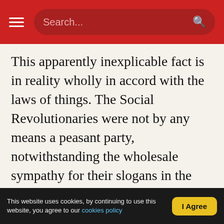Search...
This apparently inexplicable fact is in reality wholly in accord with the laws of things. The Social Revolutionaries were not by any means a peasant party, notwithstanding the wholesale sympathy for their slogans in the villages. The central nucleus of the party – what actually defined its policies and created ministers and bureaucrats from its midst – was far more closely associated with the liberal and radical circles of the cities than with the masses of the peasants in revolt. This ruling nucleus – monstrously swelled by the careerist flood of Social Revolutionaries of the March vintage – was
This website uses cookies, by continuing to use this website, you agree to our cookies policy | I Agree